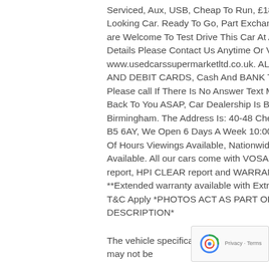Serviced, Aux, USB, Cheap To Run, £180 Tax Year, Great Looking Car. Ready To Go, Part Exchange Welcome. You are Welcome To Test Drive This Car At Any Time. For More Details Please Contact Us Anytime Or Visit Our Website www.usedcarssupermarketltd.co.uk. ALL MAJOR CREDIT AND DEBIT CARDS, Cash And BANK Transfer Accepted. Please call If There Is No Answer Text Me And I Will Get Back To You ASAP, Car Dealership Is Based In Birmingham. The Address Is: 40-48 Cheapside Birmingham B5 6AY, We Open 6 Days A Week 10:00am - 6:00pm, Out Of Hours Viewings Available, Nationwide Delivery Available. All our cars come with VOSA MOT HISTORY report, HPI CLEAR report and WARRANTY. **Extended warranty available with Extra Cost** T&C Apply *PHOTOS ACT AS PART OF THE DESCRIPTION*
The vehicle specification displayed may not be